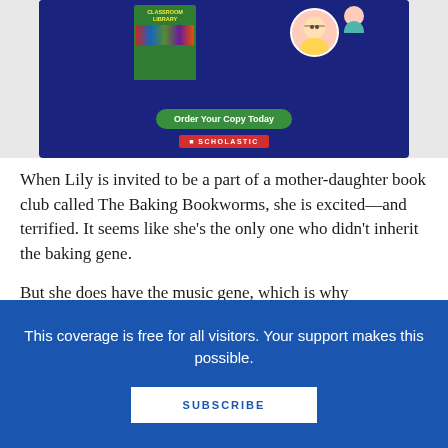[Figure (illustration): Scholastic advertisement showing a classroom library book cover with colorful book spines on a shelf, a circular photo of a smiling man with glasses, a green 'Order Your Copy Today' button, and the Scholastic logo on a dark blue background. The ad is displayed on a light grey background.]
When Lily is invited to be a part of a mother-daughter book club called The Baking Bookworms, she is excited—and terrified. It seems like she's the only one who didn't inherit the baking gene.
But she does have the music gene, which is why
This coverage is free for all visitors. Your support makes this possible.
SUBSCRIBE